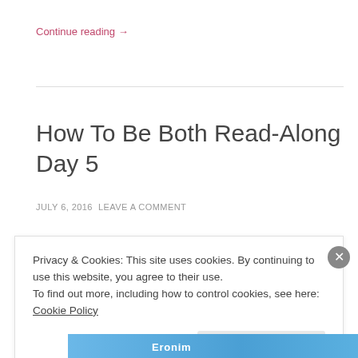Continue reading →
How To Be Both Read-Along Day 5
JULY 6, 2016  LEAVE A COMMENT
Privacy & Cookies: This site uses cookies. By continuing to use this website, you agree to their use.
To find out more, including how to control cookies, see here: Cookie Policy
Close and accept